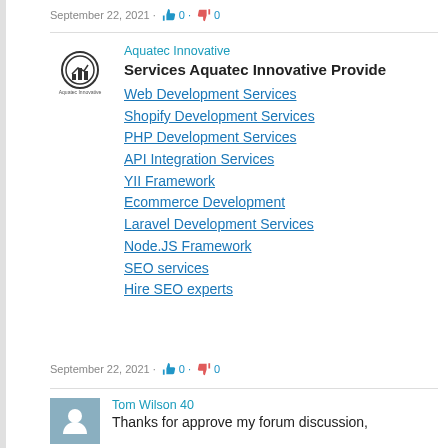September 22, 2021 · 👍 0 · 👎 0
[Figure (logo): Aquatec Innovative company logo - circular icon with chart symbol and company name below]
Aquatec Innovative
Services Aquatec Innovative Provide
Web Development Services
Shopify Development Services
PHP Development Services
API Integration Services
YII Framework
Ecommerce Development
Laravel Development Services
Node.JS Framework
SEO services
Hire SEO experts
September 22, 2021 · 👍 0 · 👎 0
[Figure (illustration): Generic person/user silhouette avatar icon on blue-grey background]
Tom Wilson 40
Thanks for approve my forum discussion,